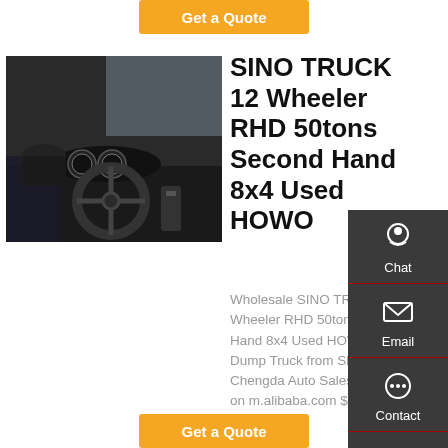[Figure (other): Orange 'Get a Quote' button at top of page]
[Figure (photo): Interior cab photo of SINO HOWO truck showing steering wheel and dashboard]
SINO TRUCK 12 Wheeler RHD 50tons Second Hand 8x4 Used HOWO
Wholesale SINO TRUCK 12 Wheeler RHD 50tons Second Hand 8x4 Used HOWO Tipper Dump Truck from Shandong Chengda Auto Sales Co., Ltd. on m.alibaba.com $4,410.00 $4,900.00
[Figure (other): Dark sidebar panel with Chat, Email, Contact, and Top navigation icons]
[Figure (other): Orange 'Get a Quote' button at bottom of page]